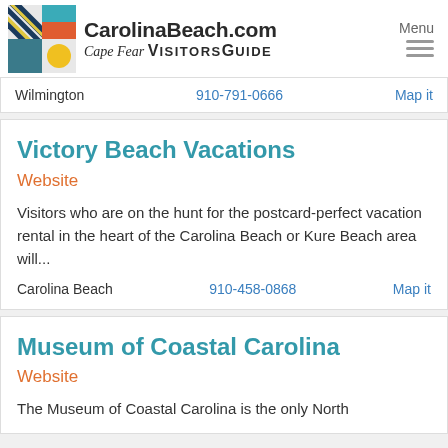CarolinaBeach.com Cape Fear VisitorsGuide Menu
Wilmington  910-791-0666  Map it
Victory Beach Vacations
Website
Visitors who are on the hunt for the postcard-perfect vacation rental in the heart of the Carolina Beach or Kure Beach area will...
Carolina Beach  910-458-0868  Map it
Museum of Coastal Carolina
Website
The Museum of Coastal Carolina is the only North